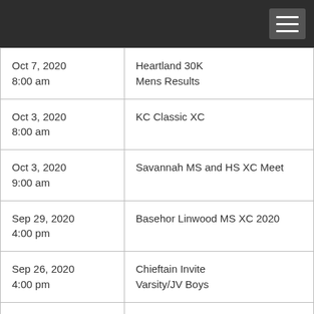| Date/Time | Event |
| --- | --- |
| Oct 7, 2020
8:00 am | Heartland 30K
Mens Results |
| Oct 3, 2020
8:00 am | KC Classic XC |
| Oct 3, 2020
9:00 am | Savannah MS and HS XC Meet |
| Sep 29, 2020
4:00 pm | Basehor Linwood MS XC 2020 |
| Sep 26, 2020
4:00 pm | Chieftain Invite
Varsity/JV Boys |
| Sep 26, 2020 | Chieftain Invite |